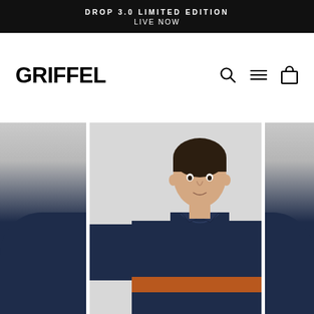DROP 3.0 LIMITED EDITION LIVE NOW
GRIFFEL
[Figure (photo): E-commerce website screenshot showing the Griffel brand homepage with a navigation bar containing logo, search, menu and cart icons, and a hero section featuring a male model wearing a navy blue long-sleeve polo shirt with an orange stripe across the chest. Two partial views of adjacent product images are visible on the left and right edges.]